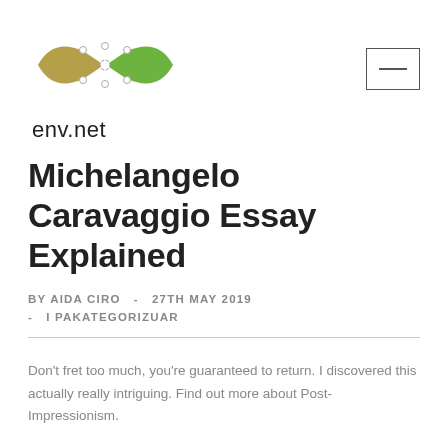[Figure (logo): env.net logo with two leaf-shaped icons in olive/gold and green colors, with circular connector nodes]
env.net
Michelangelo Caravaggio Essay Explained
BY AIDA CIRO  -  27TH MAY 2019
- I PAKATEGORIZUAR
Don't fret too much, you're guaranteed to return. I discovered this actually really intriguing. Find out more about Post-Impressionism.